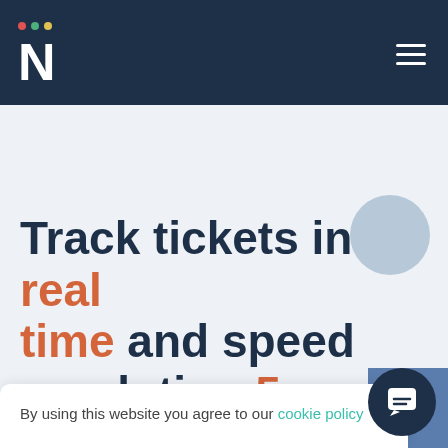[Figure (logo): Navigation bar with dark blue background, letter N logo in white with three colored dots above it (red, green, yellow), and a hamburger menu icon on the right]
Track tickets in real time and speed resolution 5x
By using this website you agree to our cookie policy